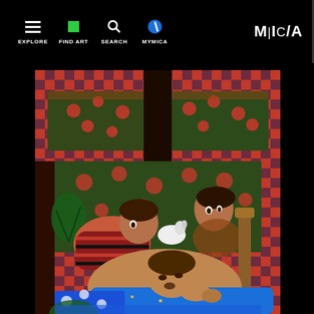EXPLORE | FIND ART | SEARCH | MYMICA | M|C/A
[Figure (illustration): Painting showing figures in a bedroom scene with red checkered wallpaper and floral bedding. Multiple people are shown around a bed, including a reclining figure and others tending to them, with a small white animal visible. The artwork features bold colors including red, dark green, blue, and brown.]